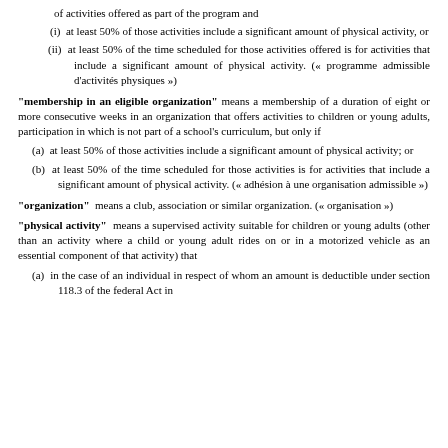of activities offered as part of the program and
(i) at least 50% of those activities include a significant amount of physical activity, or
(ii) at least 50% of the time scheduled for those activities offered is for activities that include a significant amount of physical activity. (« programme admissible d'activités physiques »)
"membership in an eligible organization" means a membership of a duration of eight or more consecutive weeks in an organization that offers activities to children or young adults, participation in which is not part of a school's curriculum, but only if
(a) at least 50% of those activities include a significant amount of physical activity; or
(b) at least 50% of the time scheduled for those activities is for activities that include a significant amount of physical activity. (« adhésion à une organisation admissible »)
"organization" means a club, association or similar organization. (« organisation »)
"physical activity" means a supervised activity suitable for children or young adults (other than an activity where a child or young adult rides on or in a motorized vehicle as an essential component of that activity) that
(a) in the case of an individual in respect of whom an amount is deductible under section 118.3 of the federal Act in